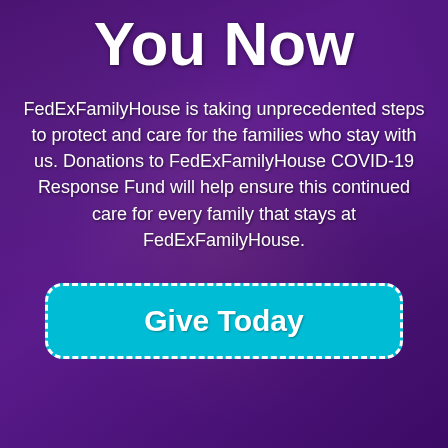[Figure (photo): Family photo with purple overlay showing adults and a child wearing face masks, used as background image for FedExFamilyHouse donation appeal]
You Now
FedExFamilyHouse is taking unprecedented steps to protect and care for the families who stay with us. Donations to FedExFamilyHouse COVID-19 Response Fund will help ensure this continued care for every family that stays at FedExFamilyHouse.
Give Today